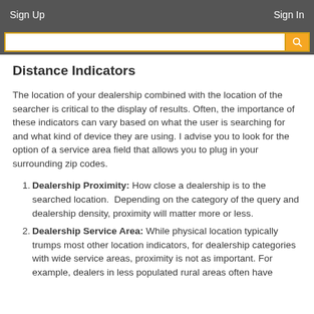Sign Up    Sign In
Distance Indicators
The location of your dealership combined with the location of the searcher is critical to the display of results. Often, the importance of these indicators can vary based on what the user is searching for and what kind of device they are using. I advise you to look for the option of a service area field that allows you to plug in your surrounding zip codes.
Dealership Proximity: How close a dealership is to the searched location.  Depending on the category of the query and dealership density, proximity will matter more or less.
Dealership Service Area: While physical location typically trumps most other location indicators, for dealership categories with wide service areas, proximity is not as important. For example, dealers in less populated rural areas often have